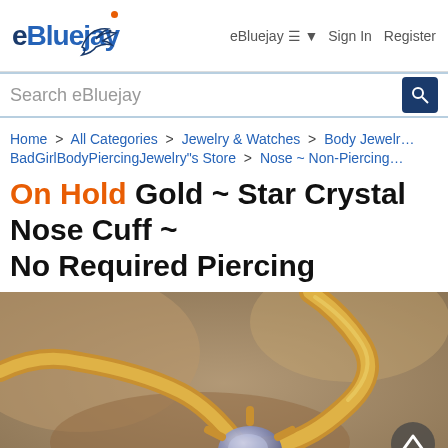eBluejay  eBluejay ☰ ▾  Sign In  Register
Search eBluejay
Home > All Categories > Jewelry & Watches > Body Jewelry > BadGirlBodyPiercingJewelry"s Store > Nose ~ Non-Piercing
On Hold Gold ~ Star Crystal Nose Cuff ~ No Required Piercing
[Figure (photo): Close-up photo of a gold-colored star crystal nose cuff jewelry piece on a brown/tan background. The piece shows golden wire shaped with a star crystal detail.]